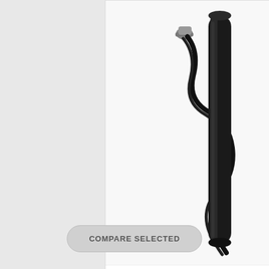[Figure (photo): MC165 Sensor product photo showing a black cylindrical sensor with attached black cable and BNC connector]
MC165 Sensor
$240.00
Compare
ADD TO CART
COMPARE SELECTED